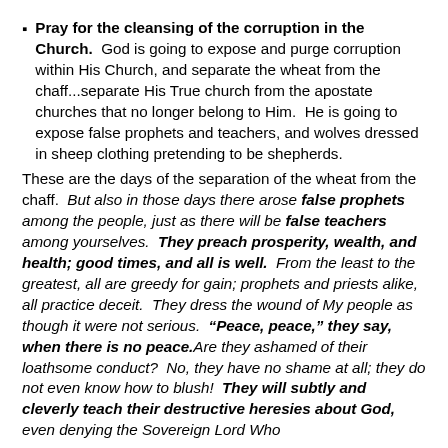Pray for the cleansing of the corruption in the Church.  God is going to expose and purge corruption within His Church, and separate the wheat from the chaff...separate His True church from the apostate churches that no longer belong to Him.  He is going to expose false prophets and teachers, and wolves dressed in sheep clothing pretending to be shepherds.
These are the days of the separation of the wheat from the chaff.  But also in those days there arose false prophets among the people, just as there will be false teachers among yourselves.  They preach prosperity, wealth, and health; good times, and all is well.  From the least to the greatest, all are greedy for gain; prophets and priests alike, all practice deceit.  They dress the wound of My people as though it were not serious.  "Peace, peace," they say, when there is no peace. Are they ashamed of their loathsome conduct?  No, they have no shame at all; they do not even know how to blush!  They will subtly and cleverly teach their destructive heresies about God, even denying the Sovereign Lord Who